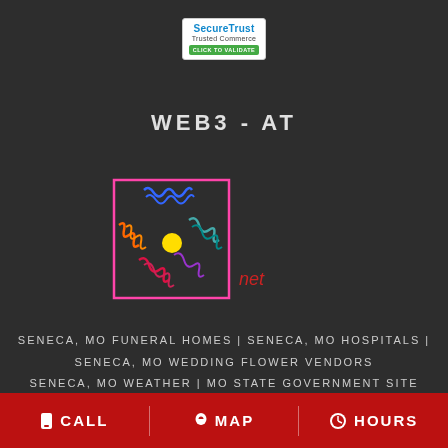[Figure (logo): SecureTrust Trusted Commerce - Click To Validate badge with white background, blue text and green button]
WEB3 - AT
[Figure (logo): Colorful pinwheel-style logo with multicolored wavy lines in blue, orange, red, purple on dark background with pink border, followed by red '.net' text]
SENECA, MO FUNERAL HOMES | SENECA, MO HOSPITALS |
SENECA, MO WEDDING FLOWER VENDORS
SENECA, MO WEATHER | MO STATE GOVERNMENT SITE
PRIVACY POLICY | TERMS OF PURCHASE
CALL  MAP  HOURS